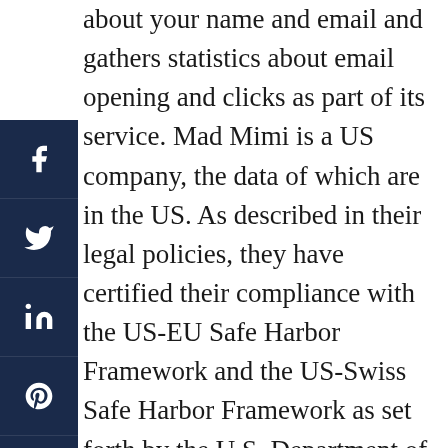about your name and email and gathers statistics about email opening and clicks as part of its service. Mad Mimi is a US company, the data of which are in the US. As described in their legal policies, they have certified their compliance with the US-EU Safe Harbor Framework and the US-Swiss Safe Harbor Framework as set forth by the U.S. Department of Commerce regarding the collection, use, and retention of Personal Data from European Union member countries and Switzerland. They have certified with the Department of Commerce that they adhere to the Privacy Shield Principles. As described in their knowledge base, they are committed to achieving compliance with the GDPR and is mindful of your